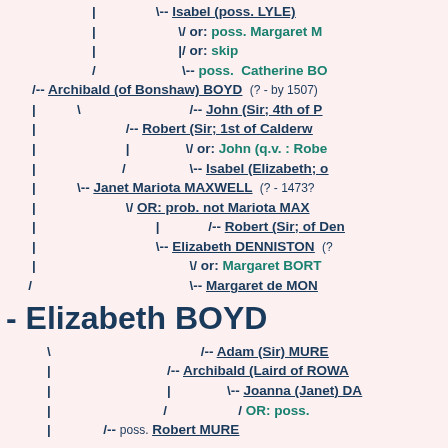[Figure (other): Genealogical family tree diagram showing ancestry of Elizabeth BOYD, with connecting lines and names including Isabel (poss. LYLE), poss. Margaret M, skip, poss. Catherine BO, Archibald (of Bonshaw) BOYD (?-by 1507), John (Sir; 4th of P...), Robert (Sir; 1st of Calderw...), John (q.v.: Robe...), Isabel (Elizabeth;...), Janet Mariota MAXWELL (?-1473?), OR: prob. not Mariota MAX..., Robert (Sir; of Den...), Elizabeth DENNISTON (?...), Margaret BORT..., Margaret de MON..., Elizabeth BOYD (main subject), Adam (Sir) MURE, Archibald (Laird of ROWA...), Joanna (Janet) DA..., OR: poss., poss. Robert MURE]